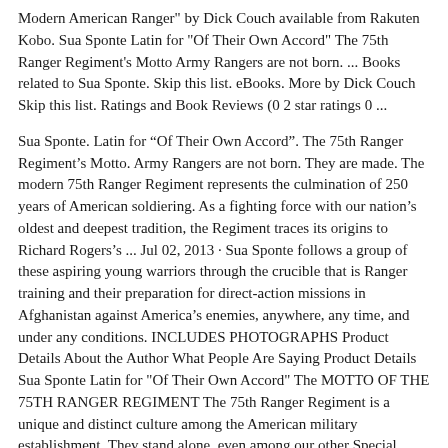Modern American Ranger" by Dick Couch available from Rakuten Kobo. Sua Sponte Latin for "Of Their Own Accord" The 75th Ranger Regiment's Motto Army Rangers are not born. ... Books related to Sua Sponte. Skip this list. eBooks. More by Dick Couch Skip this list. Ratings and Book Reviews (0 2 star ratings 0 ...
Sua Sponte. Latin for “Of Their Own Accord”. The 75th Ranger Regiment’s Motto. Army Rangers are not born. They are made. The modern 75th Ranger Regiment represents the culmination of 250 years of American soldiering. As a fighting force with our nation’s oldest and deepest tradition, the Regiment traces its origins to Richard Rogers’s ... Jul 02, 2013 · Sua Sponte follows a group of these aspiring young warriors through the crucible that is Ranger training and their preparation for direct-action missions in Afghanistan against America’s enemies, anywhere, any time, and under any conditions. INCLUDES PHOTOGRAPHS Product Details About the Author What People Are Saying Product Details Sua Sponte Latin for "Of Their Own Accord" The MOTTO OF THE 75TH RANGER REGIMENT The 75th Ranger Regiment is a unique and distinct culture among the American military establishment. They stand alone, even among our other Special Operations forces, as the most active brigade-sized force in the current Global War on Terrorism. ... This book gives ....
Jul 03, 2012 · Sua Sponte Latin for “Of Their Own Accord” The